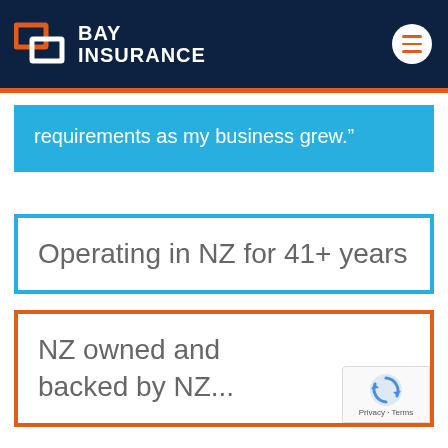[Figure (logo): Bay Insurance logo with orange and white interlocking rectangles icon, white text 'BAY INSURANCE' on dark navy background header with hamburger menu button]
requirements as my business grew.”
Operating in NZ for 41+ years
NZ owned and backed by NZ...